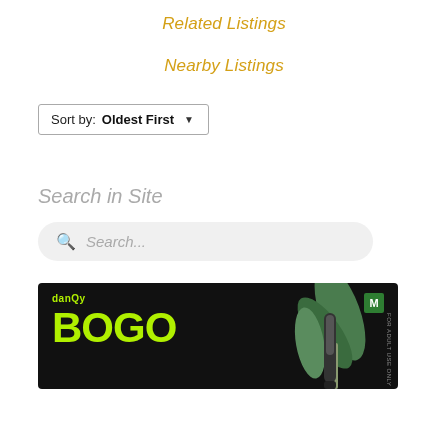Related Listings
Nearby Listings
Sort by: Oldest First ▾
Search in Site
Search...
[Figure (illustration): Advertisement banner with dark background showing 'BOGO' text in bright green, DanQy branding, plant leaves and vape device, M badge in green square, and 'FOR ADULT USE ONLY' text on the side]